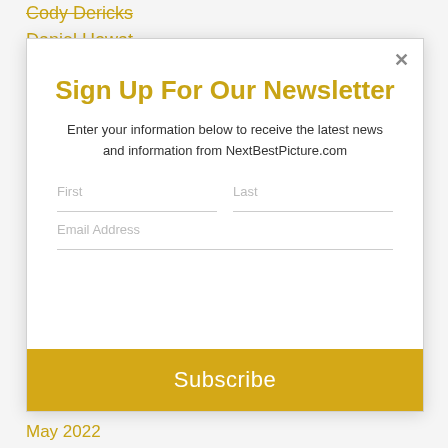Cody Dericks
Daniel Howat
Sign Up For Our Newsletter
Enter your information below to receive the latest news and information from NextBestPicture.com
First
Last
Email Address
Subscribe
May 2022